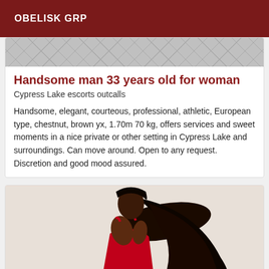OBELISK GRP
[Figure (photo): Top portion of a tiled floor photo, cropped at top of card]
Handsome man 33 years old for woman
Cypress Lake escorts outcalls
Handsome, elegant, courteous, professional, athletic, European type, chestnut, brown yx, 1.70m 70 kg, offers services and sweet moments in a nice private or other setting in Cypress Lake and surroundings. Can move around. Open to any request. Discretion and good mood assured.
[Figure (photo): Woman in red dress with long dark wavy hair, viewed from behind/side, partial body shot]